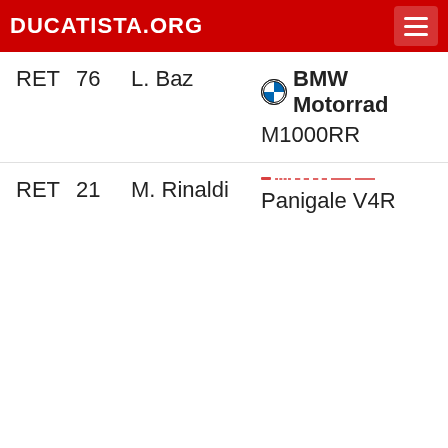DUCATISTA.ORG
| Status | No. | Rider | Bike |
| --- | --- | --- | --- |
| RET | 76 | L. Baz | BMW Motorrad M1000RR |
| RET | 21 | M. Rinaldi | Panigale V4R |